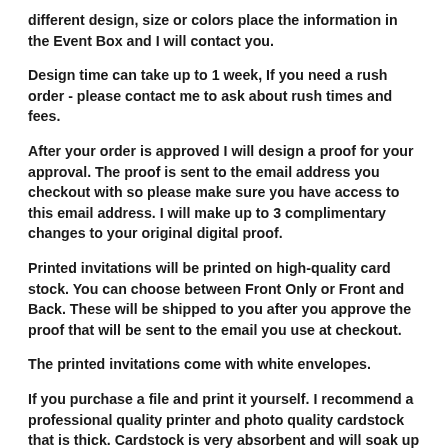different design, size or colors place the information in the Event Box and I will contact you.
Design time can take up to 1 week, If you need a rush order - please contact me to ask about rush times and fees.
After your order is approved I will design a proof for your approval. The proof is sent to the email address you checkout with so please make sure you have access to this email address. I will make up to 3 complimentary changes to your original digital proof.
Printed invitations will be printed on high-quality card stock. You can choose between Front Only or Front and Back. These will be shipped to you after you approve the proof that will be sent to the email you use at checkout.
The printed invitations come with white envelopes.
If you purchase a file and print it yourself. I recommend a professional quality printer and photo quality cardstock that is thick. Cardstock is very absorbent and will soak up a lot of ink